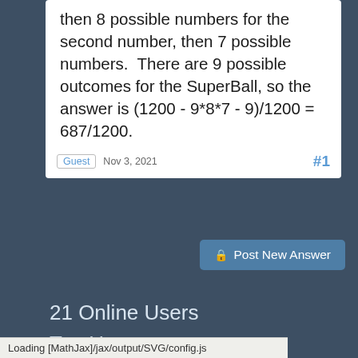then 8 possible numbers for the second number, then 7 possible numbers.  There are 9 possible outcomes for the SuperBall, so the answer is (1200 - 9*8*7 - 9)/1200 = 687/1200.
Guest  Nov 3, 2021  #1
Post New Answer
21 Online Users
Top Users
Loading [MathJax]/jax/output/SVG/config.js